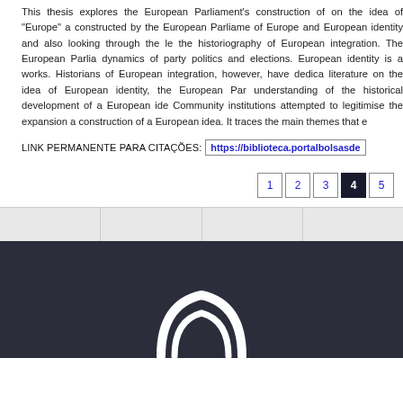This thesis explores the European Parliament's construction of on the idea of "Europe" a constructed by the European Parliame of Europe and European identity and also looking through the le the historiography of European integration. The European Parlia dynamics of party politics and elections. European identity is a works. Historians of European integration, however, have dedica literature on the idea of European identity, the European Par understanding of the historical development of a European ide Community institutions attempted to legitimise the expansion a construction of a European idea. It traces the main themes that
LINK PERMANENTE PARA CITAÇÕES: https://biblioteca.portalbolsasde
Pagination: 1 2 3 4 5